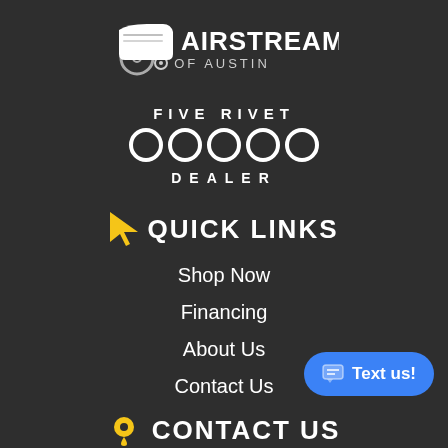[Figure (logo): Airstream of Austin logo — white trailer icon with text AIRSTREAM OF AUSTIN]
[Figure (logo): Five Rivet Dealer badge — text FIVE RIVET above five white circles above text DEALER]
QUICK LINKS
Shop Now
Financing
About Us
Contact Us
[Figure (other): Blue rounded button with chat icon and text 'Text us!']
CONTACT US